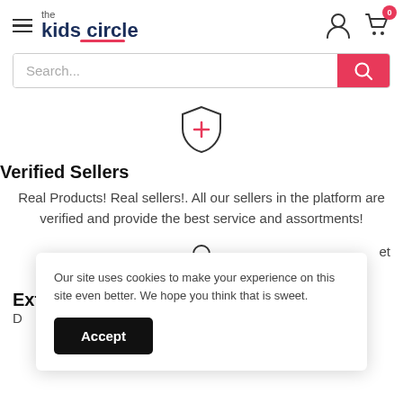[Figure (logo): The Kids Circle logo with hamburger menu icon on the left]
[Figure (screenshot): Search bar with pink search button]
[Figure (illustration): Shield icon with plus sign in red/pink]
Verified Sellers
Real Products! Real sellers!. All our sellers in the platform are verified and provide the best service and assortments!
[Figure (illustration): Shopping bag icon with plus sign]
Ext
D
Our site uses cookies to make your experience on this site even better. We hope you think that is sweet.
Accept